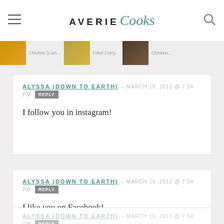AVERIE Cooks
[Figure (photo): Horizontal scrolling recipe strip with food photos and text labels including 'Chicken (Lomo...', 'Fried Curry...', 'Chicken...']
ALYSSA (DOWN TO EARTH) – MARCH 19, 2012 @ 7:54 PM [REPLY]
I follow you in instagram!
ALYSSA (DOWN TO EARTH) – MARCH 19, 2012 @ 7:54 PM [REPLY]
I like you on Facebook!
ALYSSA (DOWN TO EARTH) – MARCH 19, 2012 @ 7:54 PM [REPLY]